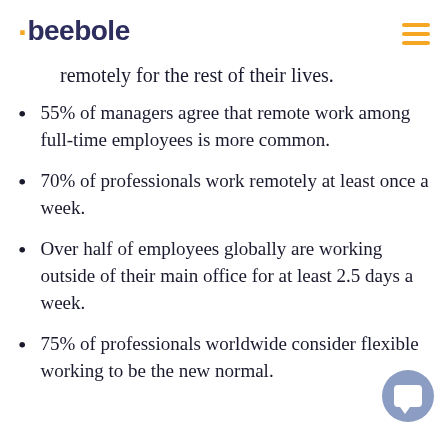beebole
remotely for the rest of their lives.
55% of managers agree that remote work among full-time employees is more common.
70% of professionals work remotely at least once a week.
Over half of employees globally are working outside of their main office for at least 2.5 days a week.
75% of professionals worldwide consider flexible working to be the new normal.